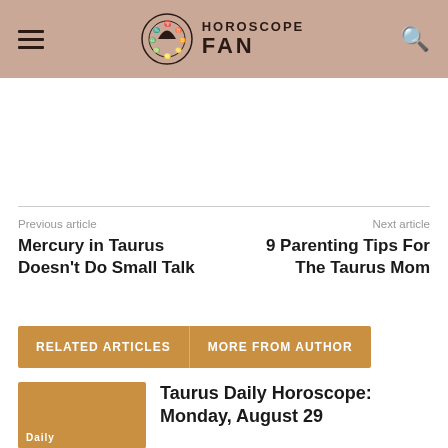HOROSCOPE FAN
Previous article
Mercury in Taurus Doesn't Do Small Talk
Next article
9 Parenting Tips For The Taurus Mom
RELATED ARTICLES    MORE FROM AUTHOR
Taurus Daily Horoscope: Monday, August 29